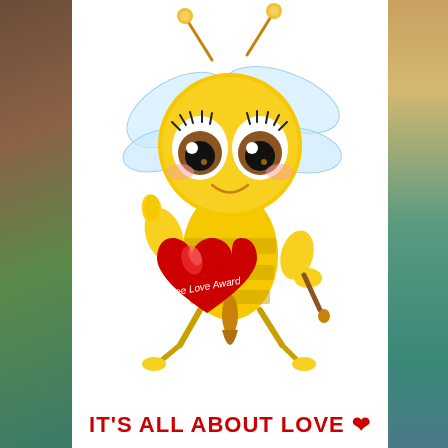[Figure (illustration): Cute cartoon bee with big anime-style eyes, holding a large red heart that says 'Bee Love Award'. The bee is yellow with black stripes, has transparent wings, antennae with gold balls, and is set against a white background. A natural landscape background (rocks/ocean) is visible on the left and right sides of the image.]
IT'S ALL ABOUT LOVE ❤